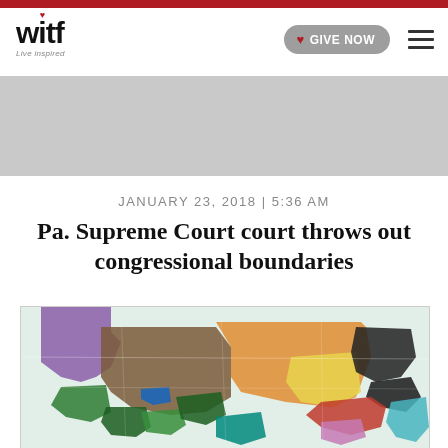witf — Live Inspired | GIVE NOW
JANUARY 23, 2018 | 5:36 AM
Pa. Supreme Court court throws out congressional boundaries
[Figure (map): Pennsylvania congressional district map showing gerrymandered boundaries, with districts shown in various colors including purple, brown, orange, yellow, green, dark blue, red, teal, and pink overlaid on a road map of Pennsylvania.]